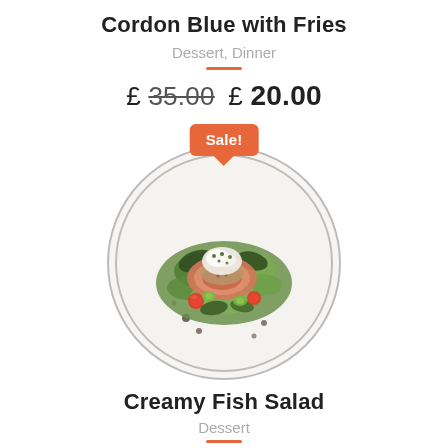Cordon Blue with Fries
Dessert, Dinner
£ 35.00 £ 20.00
[Figure (photo): A white plate with a salad dish — creamy fish salad with greens, cherry tomatoes, cucumber, and cream sauce, with a Sale! badge above]
Creamy Fish Salad
Dessert